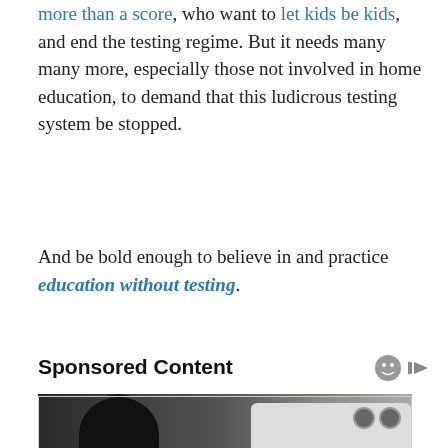more than a score, who want to let kids be kids, and end the testing regime. But it needs many many more, especially those not involved in home education, to demand that this ludicrous testing system be stopped.
And be bold enough to believe in and practice education without testing.
Sponsored Content
[Figure (photo): A person in dark clothing visible from behind near a white vehicle, with bare trees in background]
Privacy & Cookies: This site uses cookies. By continuing to use this website, you agree to their use.
To find out more, including how to control cookies, see here: Cookie Policy